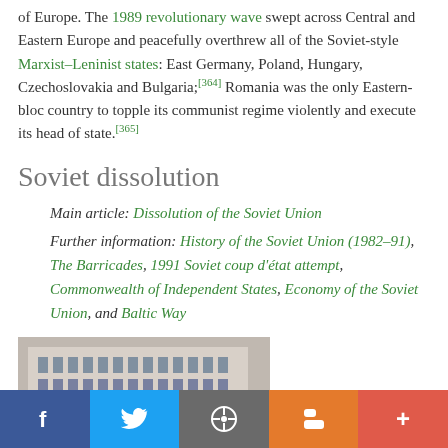of Europe. The 1989 revolutionary wave swept across Central and Eastern Europe and peacefully overthrew all of the Soviet-style Marxist–Leninist states: East Germany, Poland, Hungary, Czechoslovakia and Bulgaria;[364] Romania was the only Eastern-bloc country to topple its communist regime violently and execute its head of state.[365]
Soviet dissolution
Main article: Dissolution of the Soviet Union
Further information: History of the Soviet Union (1982–91), The Barricades, 1991 Soviet coup d'état attempt, Commonwealth of Independent States, Economy of the Soviet Union, and Baltic Way
[Figure (photo): Crowd gathered in front of a large Soviet-era government building with columns, apparently during a political rally or demonstration]
Social share bar: Facebook, Twitter, WordPress, Blogger, More